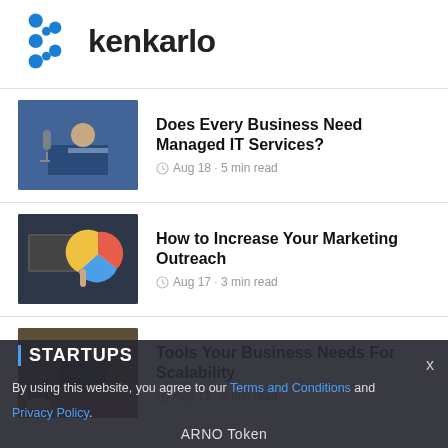[Figure (logo): Kenkarlo logo with blue snowflake/gear icon and bold text 'kenkarlo']
Does Every Business Need Managed IT Services? — Aug 18 · 5 min read
How to Increase Your Marketing Outreach — Aug 17 · 3 min read
Tools Your Business Needs For Scalability — Aug 11 · 3 min read
By using this website, you agree to our Terms and Conditions and Privacy Policy. ARNO Token